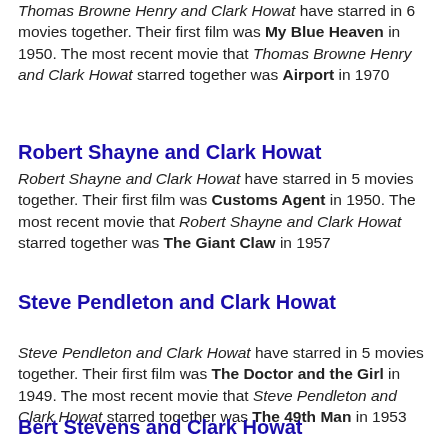Thomas Browne Henry and Clark Howat have starred in 6 movies together. Their first film was My Blue Heaven in 1950. The most recent movie that Thomas Browne Henry and Clark Howat starred together was Airport in 1970
Robert Shayne and Clark Howat
Robert Shayne and Clark Howat have starred in 5 movies together. Their first film was Customs Agent in 1950. The most recent movie that Robert Shayne and Clark Howat starred together was The Giant Claw in 1957
Steve Pendleton and Clark Howat
Steve Pendleton and Clark Howat have starred in 5 movies together. Their first film was The Doctor and the Girl in 1949. The most recent movie that Steve Pendleton and Clark Howat starred together was The 49th Man in 1953
Bert Stevens and Clark Howat